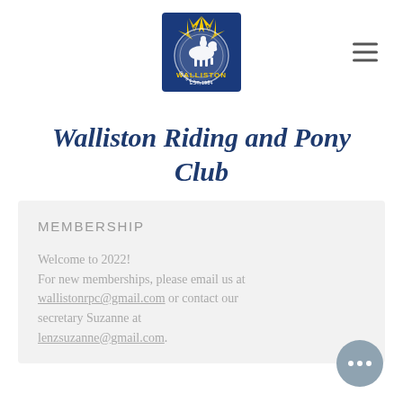[Figure (logo): Walliston Riding and Pony Club logo: blue square badge with a horse and rider, yellow star burst, circular text reading 'Walliston Riding & Pony Club EST 1984']
Walliston Riding and Pony Club
MEMBERSHIP
Welcome to 2022!
For new memberships, please email us at wallistonrpc@gmail.com or contact our secretary Suzanne at lenzsuzanne@gmail.com.